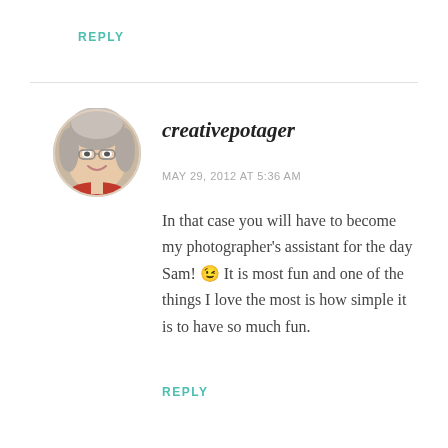REPLY
[Figure (photo): Circular avatar photo of an older woman with gray hair and glasses, smiling, wearing red]
creativepotager
MAY 29, 2012 AT 5:36 AM
In that case you will have to become my photographer's assistant for the day Sam! 😉 It is most fun and one of the things I love the most is how simple it is to have so much fun.
REPLY